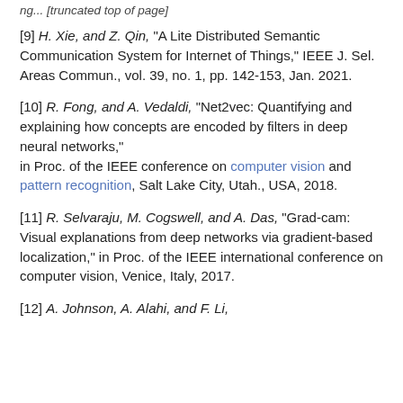[9] H. Xie, and Z. Qin, "A Lite Distributed Semantic Communication System for Internet of Things," IEEE J. Sel. Areas Commun., vol. 39, no. 1, pp. 142-153, Jan. 2021.
[10] R. Fong, and A. Vedaldi, "Net2vec: Quantifying and explaining how concepts are encoded by filters in deep neural networks," in Proc. of the IEEE conference on computer vision and pattern recognition, Salt Lake City, Utah., USA, 2018.
[11] R. Selvaraju, M. Cogswell, and A. Das, "Grad-cam: Visual explanations from deep networks via gradient-based localization," in Proc. of the IEEE international conference on computer vision, Venice, Italy, 2017.
[12] A. Johnson, A. Alahi, and F. Li, ...